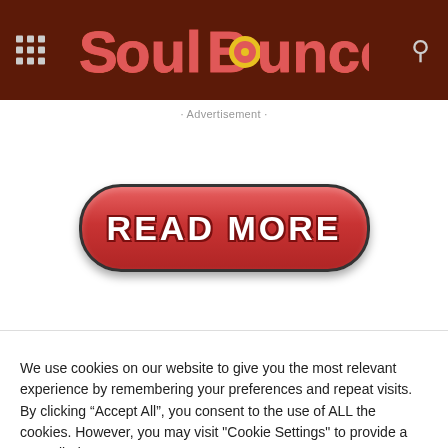SoulBounce
· Advertisement ·
[Figure (other): READ MORE button — large red pill-shaped button with white bold text reading READ MORE]
We use cookies on our website to give you the most relevant experience by remembering your preferences and repeat visits. By clicking "Accept All", you consent to the use of ALL the cookies. However, you may visit "Cookie Settings" to provide a controlled consent.
Cookie Settings    Accept All